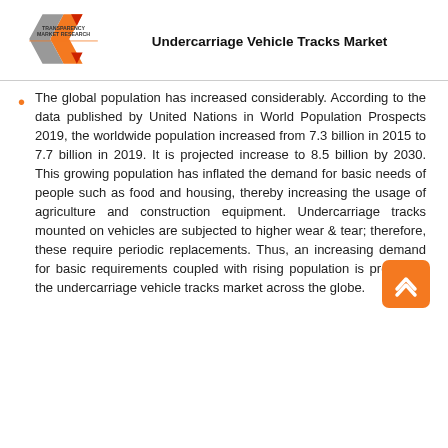Undercarriage Vehicle Tracks Market
The global population has increased considerably. According to the data published by United Nations in World Population Prospects 2019, the worldwide population increased from 7.3 billion in 2015 to 7.7 billion in 2019. It is projected increase to 8.5 billion by 2030. This growing population has inflated the demand for basic needs of people such as food and housing, thereby increasing the usage of agriculture and construction equipment. Undercarriage tracks mounted on vehicles are subjected to higher wear & tear; therefore, these require periodic replacements. Thus, an increasing demand for basic requirements coupled with rising population is propelling the undercarriage vehicle tracks market across the globe.